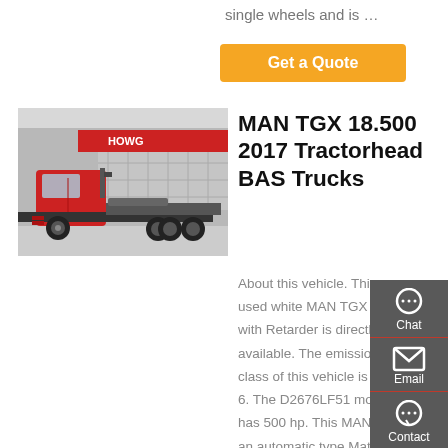single wheels and is …
Get a Quote
[Figure (photo): Red MAN truck tractor head parked in front of a dealership building with HOWO signage]
MAN TGX 18.500 2017 Tractorhead BAS Trucks
About this vehicle. This used white MAN TGX 4X2 with Retarder is directly available. The emission class of this vehicle is Euro 6. The D2676LF51 motor has 500 hp. This MAN has an automatic type Matic gear box with 12+2 gears. The drive…
Chat
Email
Contact
Top